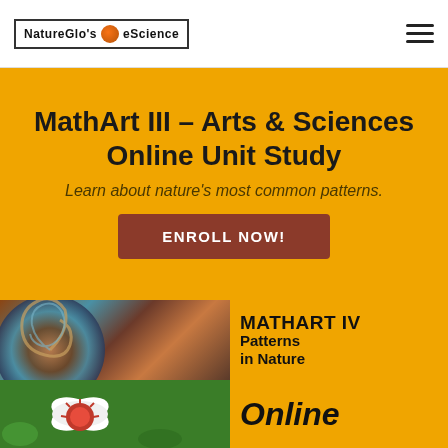NatureGlo's eScience
MathArt III – Arts & Sciences Online Unit Study
Learn about nature's most common patterns.
ENROLL NOW!
[Figure (illustration): Banner image showing MATHART IV Patterns in Nature with a nautilus shell spiral and orange background]
[Figure (illustration): Bottom banner showing flower image on left and 'Online' text on orange background on right]